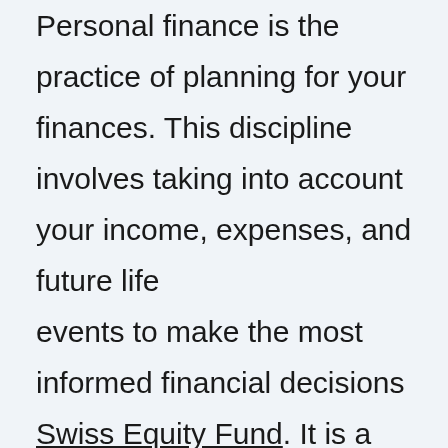Personal finance is the practice of planning for your finances. This discipline involves taking into account your income, expenses, and future life events to make the most informed financial decisions Swiss Equity Fund. It is a vital aspect of personal financial management, and you should develop a strong understanding of this subject. You can also learn how to save more money for retirement and pay off